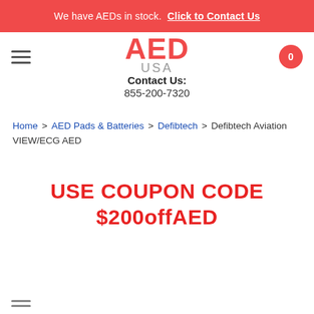We have AEDs in stock. Click to Contact Us
[Figure (logo): AED USA logo with hamburger menu and cart icon showing 0]
Contact Us: 855-200-7320
Home > AED Pads & Batteries > Defibtech > Defibtech Aviation VIEW/ECG AED
USE COUPON CODE $200offAED